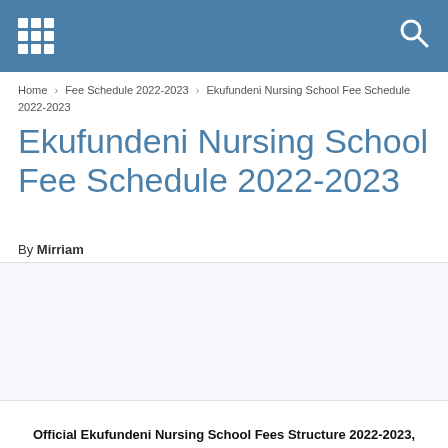Ekufundeni Nursing School Fee Schedule 2022-2023
Home › Fee Schedule 2022-2023 › Ekufundeni Nursing School Fee Schedule 2022-2023
Ekufundeni Nursing School Fee Schedule 2022-2023
By Mirriam
Official Ekufundeni Nursing School Fees Structure 2022-2023, Tuition Fees and All Fees Structure (PDF Download)